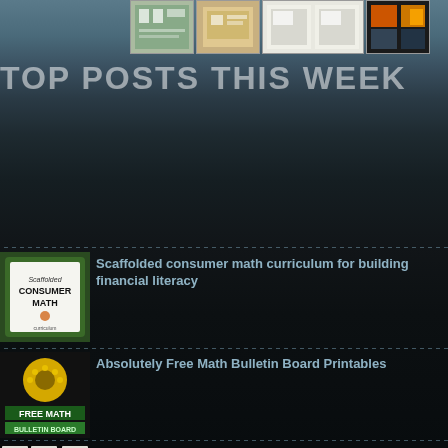[Figure (screenshot): Four small thumbnails of educational materials at top]
TOP POSTS THIS WEEK
[Figure (photo): Scaffolded Consumer Math curriculum book cover thumbnail]
Scaffolded consumer math curriculum for building financial literacy
[Figure (photo): Free Math Bulletin Board printables thumbnail with sunflower]
Absolutely Free Math Bulletin Board Printables
[Figure (photo): Math Cheat Sheets - six small worksheet thumbnails]
Math Cheat Sheets
[Figure (photo): Partial thumbnail image at bottom - fourth post]